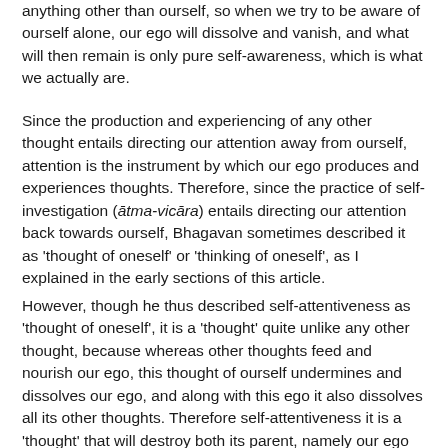anything other than ourself, so when we try to be aware of ourself alone, our ego will dissolve and vanish, and what will then remain is only pure self-awareness, which is what we actually are.
Since the production and experiencing of any other thought entails directing our attention away from ourself, attention is the instrument by which our ego produces and experiences thoughts. Therefore, since the practice of self-investigation (ātma-vicāra) entails directing our attention back towards ourself, Bhagavan sometimes described it as 'thought of oneself' or 'thinking of oneself', as I explained in the early sections of this article.
However, though he thus described self-attentiveness as 'thought of oneself', it is a 'thought' quite unlike any other thought, because whereas other thoughts feed and nourish our ego, this thought of ourself undermines and dissolves our ego, and along with this ego it also dissolves all its other thoughts. Therefore self-attentiveness it is a 'thought' that will destroy both its parent, namely our ego or primal thought called 'I', and all its siblings, namely all our other thoughts.